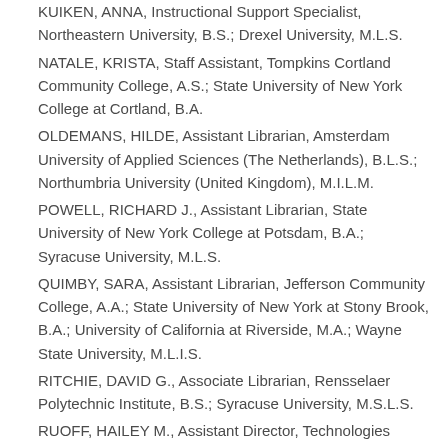KUIKEN, ANNA, Instructional Support Specialist, Northeastern University, B.S.; Drexel University, M.L.S.
NATALE, KRISTA, Staff Assistant, Tompkins Cortland Community College, A.S.; State University of New York College at Cortland, B.A.
OLDEMANS, HILDE, Assistant Librarian, Amsterdam University of Applied Sciences (The Netherlands), B.L.S.; Northumbria University (United Kingdom), M.I.L.M.
POWELL, RICHARD J., Assistant Librarian, State University of New York College at Potsdam, B.A.; Syracuse University, M.L.S.
QUIMBY, SARA, Assistant Librarian, Jefferson Community College, A.A.; State University of New York at Stony Brook, B.A.; University of California at Riverside, M.A.; Wayne State University, M.L.I.S.
RITCHIE, DAVID G., Associate Librarian, Rensselaer Polytechnic Institute, B.S.; Syracuse University, M.S.L.S.
RUOFF, HAILEY M., Assistant Director, Technologies Design